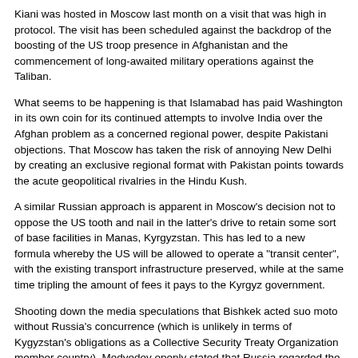Kiani was hosted in Moscow last month on a visit that was high in protocol. The visit has been scheduled against the backdrop of the boosting of the US troop presence in Afghanistan and the commencement of long-awaited military operations against the Taliban.
What seems to be happening is that Islamabad has paid Washington in its own coin for its continued attempts to involve India over the Afghan problem as a concerned regional power, despite Pakistani objections. That Moscow has taken the risk of annoying New Delhi by creating an exclusive regional format with Pakistan points towards the acute geopolitical rivalries in the Hindu Kush.
A similar Russian approach is apparent in Moscow's decision not to oppose the US tooth and nail in the latter's drive to retain some sort of base facilities in Manas, Kyrgyzstan. This has led to a new formula whereby the US will be allowed to operate a "transit center", with the existing transport infrastructure preserved, while at the same time tripling the amount of fees it pays to the Kyrgyz government.
Shooting down the media speculations that Bishkek acted suo moto without Russia's concurrence (which is unlikely in terms of Kygyzstan's obligations as a Collective Security Treaty Organization member country), Medvedev openly stated that Russia regarded the Manas rear service base center to be integral to the fight against international terrorism.
Yet another vector appeared a while ago in the nature of the Russian decision to allow the transit of non-lethal military materials for NATO forces